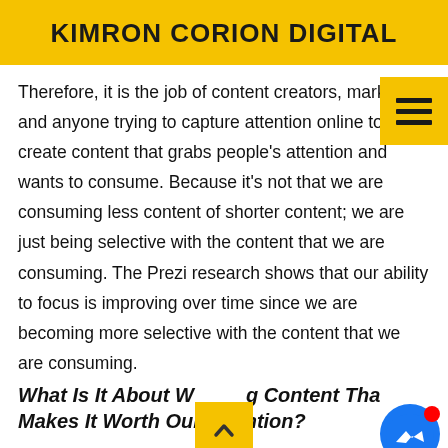KIMRON CORION DIGITAL
Therefore, it is the job of content creators, marketers, and anyone trying to capture attention online to create content that grabs people's attention and wants to consume. Because it's not that we are consuming less content of shorter content; we are just being selective with the content that we are consuming. The Prezi research shows that our ability to focus is improving over time since we are becoming more selective with the content that we are consuming.
What Is It About Writing Content That Makes It Worth Our Attention?